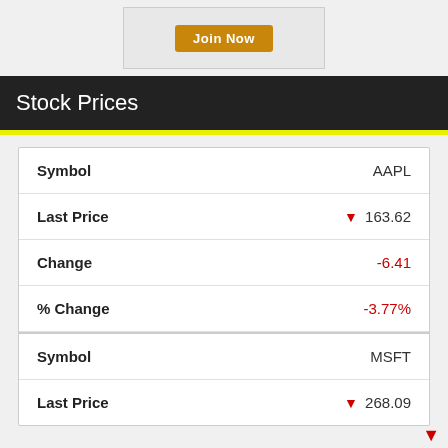[Figure (other): Advertisement area with 'Join Now' button on grey background]
Stock Prices
|  |  |
| --- | --- |
| Symbol | AAPL |
| Last Price | ▼ 163.62 |
| Change | -6.41 |
| % Change | -3.77% |
| Symbol | MSFT |
| Last Price | ▼ 268.09 |